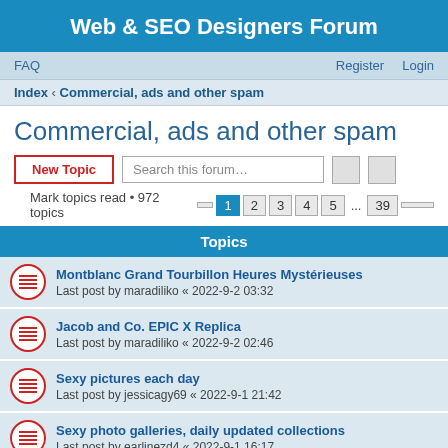Web & SEO Designers Forum
FAQ   Register   Login
Index › Commercial, ads and other spam
Commercial, ads and other spam
New Topic   Search this forum…
Mark topics read • 972 topics   1 2 3 4 5 ... 39
Topics
Montblanc Grand Tourbillon Heures Mystérieuses
Last post by maradiliko « 2022-9-2 03:32
Jacob and Co. EPIC X Replica
Last post by maradiliko « 2022-9-2 02:46
Sexy pictures each day
Last post by jessicagy69 « 2022-9-1 21:42
Sexy photo galleries, daily updated collections
Last post by earlinezd4 « 2022-9-1 16:17
Girls of Desire: All babes in one place, crazy, art
Last post by chrystalvm3 « 2022-9-1 13:59